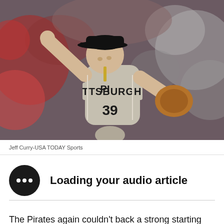[Figure (photo): Pittsburgh Pirates pitcher wearing jersey number 39 in mid-pitch wind-up, in a stadium with red-clad crowd in the background]
Jeff Curry-USA TODAY Sports
Loading your audio article
The Pirates again couldn't back a strong starting pitching performance and, for the second night in a